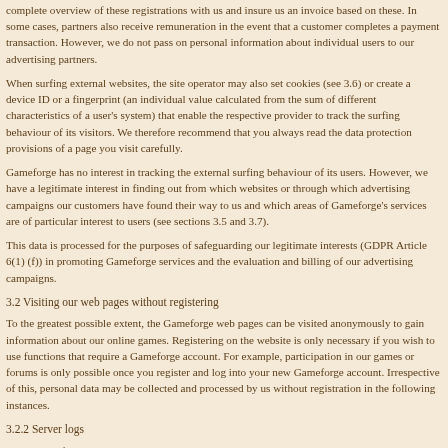complete overview of these registrations with us and insure us an invoice based on these.In some cases, partners also receive remuneration in the event that a customer completes a payment transaction. However, we do not pass on personal information about individual users to our advertising partners.
When surfing external websites, the site operator may also set cookies (see 3.6) or create a device ID or a fingerprint (an individual value calculated from the sum of different characteristics of a user's system) that enable the respective provider to track the surfing behaviour of its visitors. We therefore recommend that you always read the data protection provisions of a page you visit carefully.
Gameforge has no interest in tracking the external surfing behaviour of its users. However, we have a legitimate interest in finding out from which websites or through which advertising campaigns our customers have found their way to us and which areas of Gameforge's services are of particular interest to users (see sections 3.5 and 3.7).
This data is processed for the purposes of safeguarding our legitimate interests (GDPR Article 6(1)(f)) in promoting Gameforge services and the evaluation and billing of our advertising campaigns.
3.2 Visiting our web pages without registering
To the greatest possible extent, the Gameforge web pages can be visited anonymously to gain information about our online games. Registering on the website is only necessary if you wish to use functions that require a Gameforge account. For example, participation in our games or forums is only possible once you register and log into your new Gameforge account. Irrespective of this, personal data may be collected and processed by us without registration in the following instances.
3.2.2 Server logs
In the Gameforge server logs, we automatically record certain 7.0 and 7.1 which is shown to you